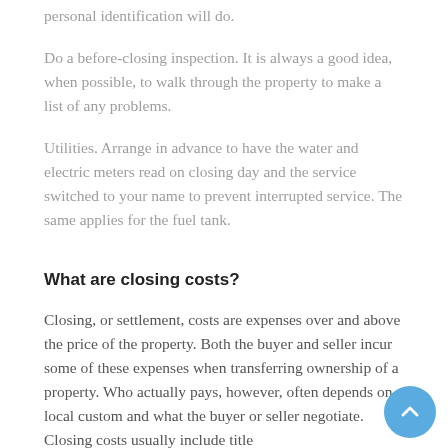personal identification will do.
Do a before-closing inspection. It is always a good idea, when possible, to walk through the property to make a list of any problems.
Utilities. Arrange in advance to have the water and electric meters read on closing day and the service switched to your name to prevent interrupted service. The same applies for the fuel tank.
What are closing costs?
Closing, or settlement, costs are expenses over and above the price of the property. Both the buyer and seller incur some of these expenses when transferring ownership of a property. Who actually pays, however, often depends on local custom and what the buyer or seller negotiate. Closing costs usually include title